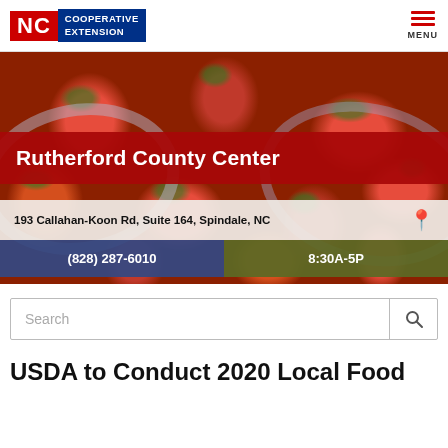NC Cooperative Extension — MENU
[Figure (photo): Hero banner photo of fresh red strawberries in a colander/strainer bowl, with green leafy tops visible, dark red berry background filling the frame.]
Rutherford County Center
193 Callahan-Koon Rd, Suite 164, Spindale, NC
(828) 287-6010
8:30A-5P
Search
USDA to Conduct 2020 Local Food